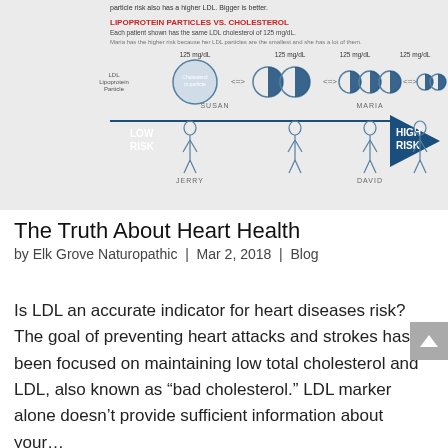[Figure (infographic): Infographic titled 'Lipoprotein Particles vs. Cholesterol' showing four patients (Jerry, Susan, David, Maria) each with the same LDL cholesterol of 125 mg/dL but different LDL particle sizes. A blue arrow pointing right runs from LOW RISK (Jerry) to HIGH RISK (Maria). LDL Lipoprotein Particles are shown as circles decreasing in size from left to right, increasing in number. Maria has the highest risk because her LDL particles are the smallest and she has a lot of them.]
The Truth About Heart Health
by Elk Grove Naturopathic | Mar 2, 2018 | Blog
Is LDL an accurate indicator for heart diseases risk? The goal of preventing heart attacks and strokes has been focused on maintaining low total cholesterol and LDL, also known as “bad cholesterol.” LDL marker alone doesn’t provide sufficient information about your…